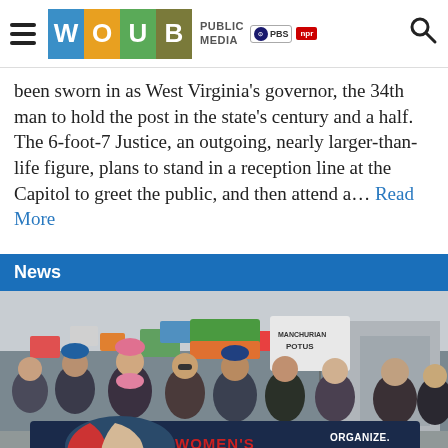WOUB PUBLIC MEDIA PBS NPR
been sworn in as West Virginia's governor, the 34th man to hold the post in the state's century and a half. The 6-foot-7 Justice, an outgoing, nearly larger-than-life figure, plans to stand in a reception line at the Capitol to greet the public, and then attend a… Read More
News
[Figure (photo): Women's March on Washington Ohio participants marching, holding a banner that reads WOMEN'S MARCH ON WASHINGTON OHIO ORGANIZE. AGITATE. EDUCATE., crowd with signs in background]